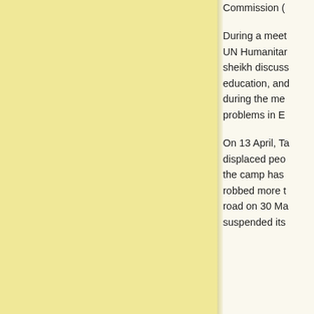[Figure (other): Large yellow/cream colored panel occupying the left two-thirds of the page, likely an image or decorative background element.]
Commission (

During a meet UN Humanitarian sheikh discuss education, and during the me problems in E

On 13 April, Ta displaced peo the camp has robbed more t road on 30 Ma suspended its